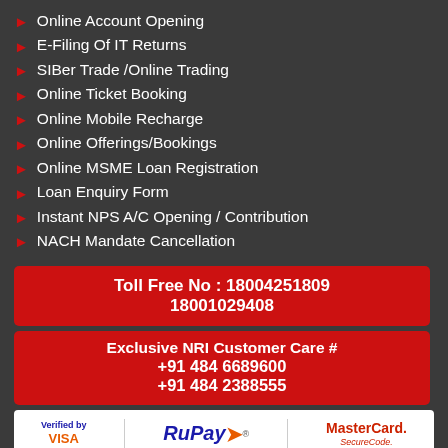Online Account Opening
E-Filing Of IT Returns
SIBer Trade /Online Trading
Online Ticket Booking
Online Mobile Recharge
Online Offerings/Bookings
Online MSME Loan Registration
Loan Enquiry Form
Instant NPS A/C Opening / Contribution
NACH Mandate Cancellation
Toll Free No : 18004251809
18001029408
Exclusive NRI Customer Care #
+91 484 6689600
+91 484 2388555
[Figure (logo): Payment logos: Verified by Visa, RuPay, MasterCard SecureCode]